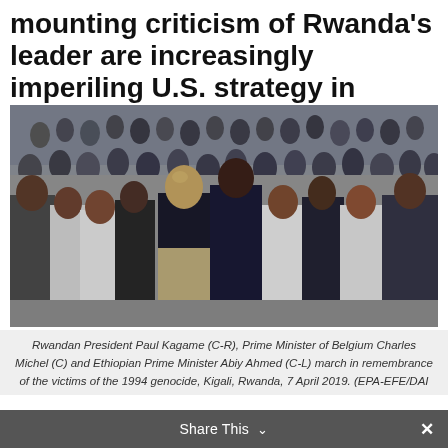mounting criticism of Rwanda's leader are increasingly imperiling U.S. strategy in volatile eastern Africa.
[Figure (photo): A large crowd of people marching in a procession. At the front center is a tall bald man in khaki trousers and a dark jacket, flanked by men and women in white and dark polo shirts. Rwandan President Paul Kagame (C-R), Prime Minister of Belgium Charles Michel (C) and Ethiopian Prime Minister Abiy Ahmed (C-L) march in remembrance of the victims of the 1994 genocide, Kigali, Rwanda, 7 April 2019.]
Rwandan President Paul Kagame (C-R), Prime Minister of Belgium Charles Michel (C) and Ethiopian Prime Minister Abiy Ahmed (C-L) march in remembrance of the victims of the 1994 genocide, Kigali, Rwanda, 7 April 2019. (EPA-EFE/DAI
Share This ∨ ×